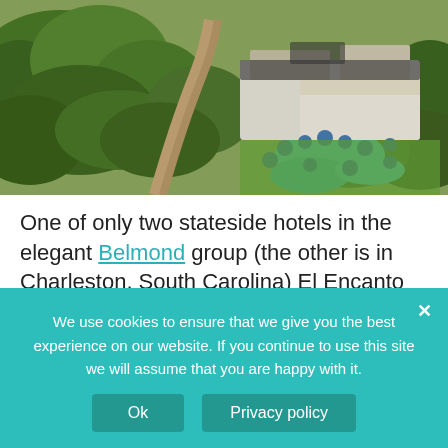[Figure (photo): Aerial view of El Encanto hotel resort showing lush green trees, winding path, swimming pools with blue umbrellas and lounge chairs, and white resort buildings with surrounding landscape in Santa Barbara, California.]
One of only two stateside hotels in the elegant Belmond group (the other is in Charleston, South Carolina) El Encanto opened in 1918, and the resort, a gleaming and glamorous reflection of its host town, has been part of
We use cookies to ensure that we give you the best experience on our website. If you continue to use this site we will assume that you are happy with it.